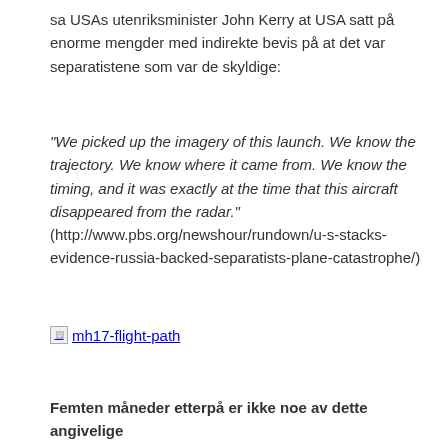sa USAs utenriksminister John Kerry at USA satt på enorme mengder med indirekte bevis på at det var separatistene som var de skyldige:
"We picked up the imagery of this launch. We know the trajectory. We know where it came from. We know the timing, and it was exactly at the time that this aircraft disappeared from the radar." (http://www.pbs.org/newshour/rundown/u-s-stacks-evidence-russia-backed-separatists-plane-catastrophe/)
[Figure (photo): Broken image placeholder linking to mh17-flight-path image]
Femten måneder etterpå er ikke noe av dette angivelige